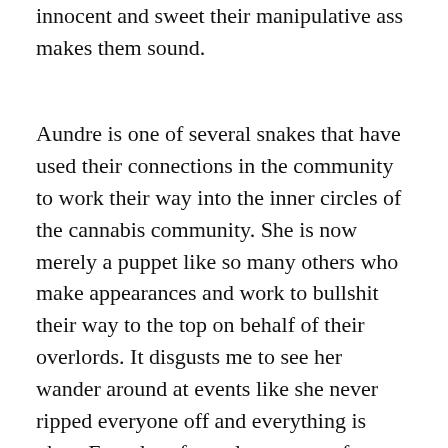innocent and sweet their manipulative ass makes them sound.
Aundre is one of several snakes that have used their connections in the community to work their way into the inner circles of the cannabis community. She is now merely a puppet like so many others who make appearances and work to bullshit their way to the top on behalf of their overlords. It disgusts me to see her wander around at events like she never ripped everyone off and everything is okay. For a lot of people out tens of thousands of dollars it is not okay. She often portrays herself as a victim, blaming anyone and everyone for the damage she caused.... and a lot of folks have bought this